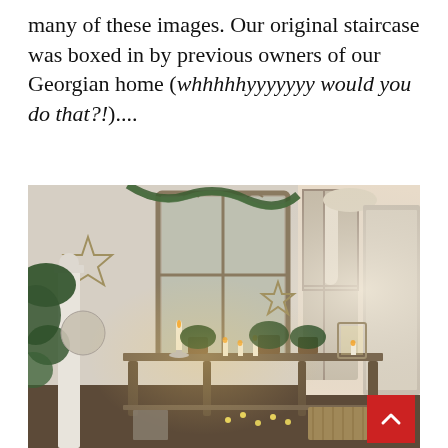many of these images. Our original staircase was boxed in by previous owners of our Georgian home (whhhhhyyyyyyy would you do that?!)….
[Figure (photo): A warmly lit interior showing a wooden console table decorated with candles, small potted evergreen plants, lanterns, and glassware. Behind the table is a large mirror with an ornate frame, flanked by garlands of greenery. Star-shaped wire decorations hang on the wall. To the left, a white staircase newel post is visible with greenery wrapped around it. Large windows let in natural light on the right side. A red scroll-to-top button is visible in the bottom right corner.]